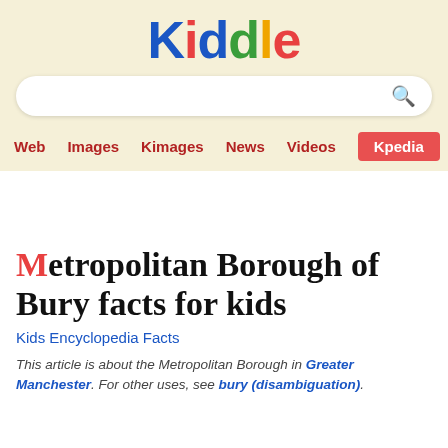[Figure (logo): Kiddle logo with colorful letters on beige background]
Metropolitan Borough of Bury facts for kids
Kids Encyclopedia Facts
This article is about the Metropolitan Borough in Greater Manchester. For other uses, see bury (disambiguation).